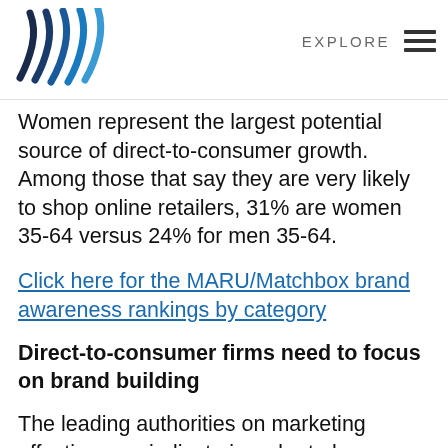EXPLORE
Women represent the largest potential source of direct-to-consumer growth. Among those that say they are very likely to shop online retailers, 31% are women 35-64 versus 24% for men 35-64.
Click here for the MARU/Matchbox brand awareness rankings by category
Direct-to-consumer firms need to focus on brand building
The leading authorities on marketing effectiveness indicate in order to be successful, direct-to-consumer brands must shift from narrow targeting to mass reach